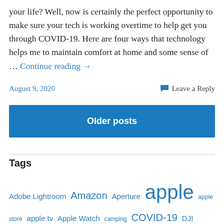your life? Well, now is certainly the perfect opportunity to make sure your tech is working overtime to help get you through COVID-19. Here are four ways that technology helps me to maintain comfort at home and some sense of … Continue reading →
August 9, 2020
Leave a Reply
Older posts
Tags
Adobe Lightroom Amazon Aperture apple apple store apple tv Apple Watch camping COVID-19 DJI Osmo Pocket email Facebook family photography family photos family vacation gadgets GoPro